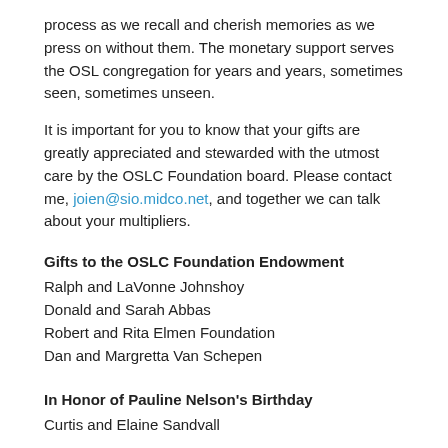process as we recall and cherish memories as we press on without them. The monetary support serves the OSL congregation for years and years, sometimes seen, sometimes unseen.
It is important for you to know that your gifts are greatly appreciated and stewarded with the utmost care by the OSLC Foundation board. Please contact me, joien@sio.midco.net, and together we can talk about your multipliers.
Gifts to the OSLC Foundation Endowment
Ralph and LaVonne Johnshoy
Donald and Sarah Abbas
Robert and Rita Elmen Foundation
Dan and Margretta Van Schepen
In Honor of Pauline Nelson's Birthday
Curtis and Elaine Sandvall